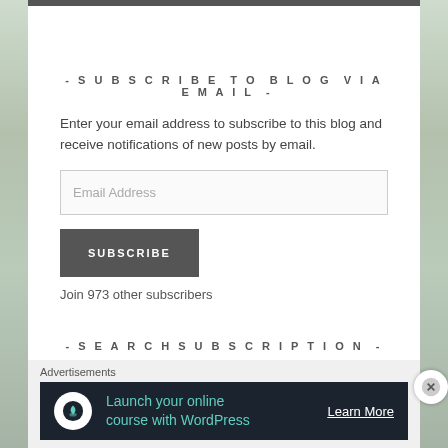- SUBSCRIBE TO BLOG VIA EMAIL -
Enter your email address to subscribe to this blog and receive notifications of new posts by email.
Email Address
SUBSCRIBE
Join 973 other subscribers
- SEARCHSUBSCRIPTION -
Advertisements
Launch your online course with WordPress  Learn More